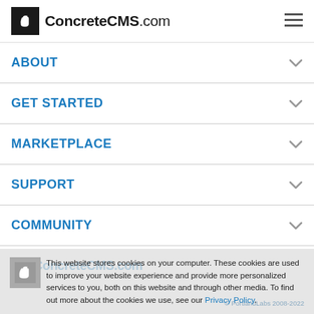ConcreteCMS.com
ABOUT
GET STARTED
MARKETPLACE
SUPPORT
COMMUNITY
This website stores cookies on your computer. These cookies are used to improve your website experience and provide more personalized services to you, both on this website and through other media. To find out more about the cookies we use, see our Privacy Policy.